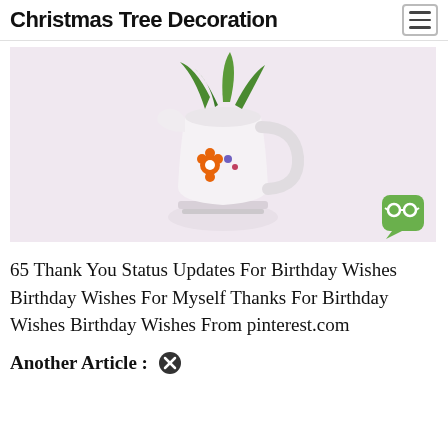Christmas Tree Decoration
[Figure (photo): A white ceramic pitcher/mug with orange and blue floral decoration, containing green leafy plants, set against a light pink/lavender background. A small green speech bubble icon with glasses appears in the lower right corner.]
65 Thank You Status Updates For Birthday Wishes Birthday Wishes For Myself Thanks For Birthday Wishes Birthday Wishes From pinterest.com
Another Article :